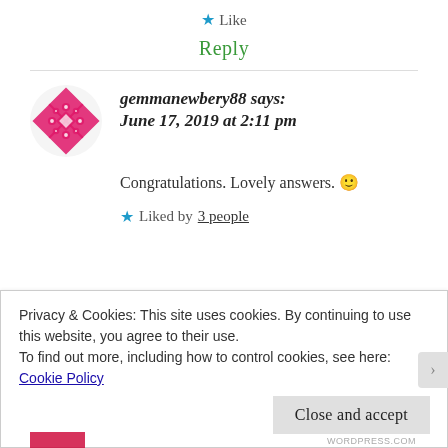★ Like
Reply
gemmanewbery88 says: June 17, 2019 at 2:11 pm
Congratulations. Lovely answers. 🙂
★ Liked by 3 people
Privacy & Cookies: This site uses cookies. By continuing to use this website, you agree to their use. To find out more, including how to control cookies, see here: Cookie Policy
Close and accept